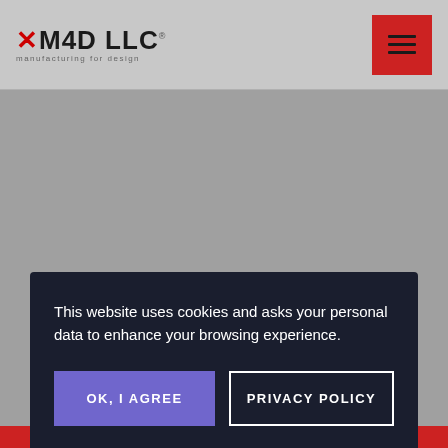[Figure (screenshot): Website screenshot of M4D LLC homepage showing navigation bar with logo and hamburger menu button, gray hero background, and partial hero text 'From Art to Part']
M4D LLC — Manufacturing For Design
From Art to Part
This website uses cookies and asks your personal data to enhance your browsing experience.
OK, I AGREE
PRIVACY POLICY